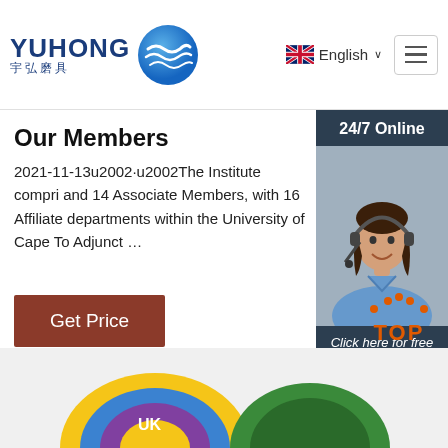[Figure (logo): YUHONG logo with Chinese text 宇弘磨具 and blue wave/sphere icon]
[Figure (screenshot): English language selector with UK flag and hamburger menu button]
Our Members
2021-11-13u2002·u2002The Institute compri and 14 Associate Members, with 16 Affiliate  departments within the University of Cape To Adjunct …
[Figure (other): Brown Get Price button]
[Figure (photo): 24/7 Online chat widget with woman wearing headset, dark background bars, Click here for free chat! text, and QUOTATION button]
[Figure (other): Orange TOP back-to-top button with dots above]
[Figure (photo): Bottom product images showing grinding discs - one with UK branding (yellow/blue/purple) and one green disc]